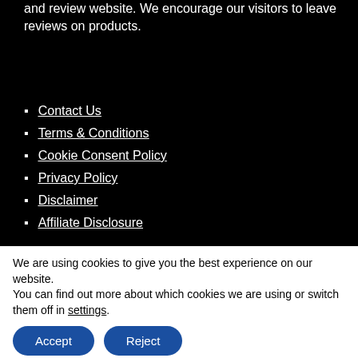and review website. We encourage our visitors to leave reviews on products.
Contact Us
Terms & Conditions
Cookie Consent Policy
Privacy Policy
Disclaimer
Affiliate Disclosure
We are using cookies to give you the best experience on our website.
You can find out more about which cookies we are using or switch them off in settings.